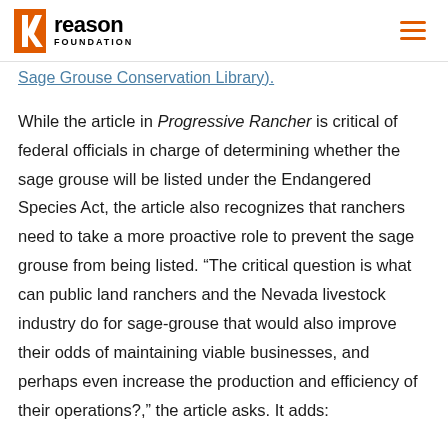Reason Foundation
Sage Grouse Conservation Library).
While the article in Progressive Rancher is critical of federal officials in charge of determining whether the sage grouse will be listed under the Endangered Species Act, the article also recognizes that ranchers need to take a more proactive role to prevent the sage grouse from being listed. “The critical question is what can public land ranchers and the Nevada livestock industry do for sage-grouse that would also improve their odds of maintaining viable businesses, and perhaps even increase the production and efficiency of their operations?,” the article asks. It adds: